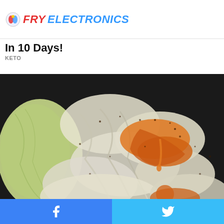FRY ELECTRONICS
In 10 Days!
KETO
[Figure (photo): Close-up photo of cooked vegetables (cabbage/onions) with orange sauce and spices in a dark pan]
These 2 Vegetables Will Kill Your Belly And Arm Fat Overnight
KETO DIET
[Figure (infographic): Social media share bar with Facebook and Twitter buttons]